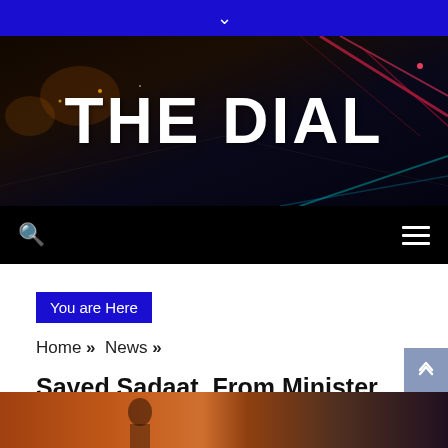▾
THE DIAL
🔍  ☰
You are Here
Home » News »
Sayed Sadaat, From Minister Of Communications In Afghanistan To 'Rider' In Germany
[Figure (photo): Partial view of article photo showing a person, warm orange/brown tones]